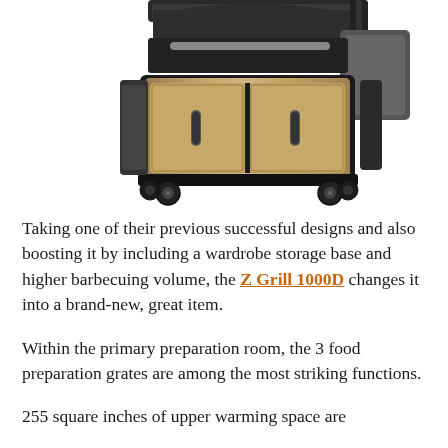[Figure (photo): Photo of a Z Grill 1000D barbecue grill with a bronze/champagne colored cabinet base with two doors and handles, black body, and wheels/casters at the bottom. The grill lid and cooking area are visible at the top.]
Taking one of their previous successful designs and also boosting it by including a wardrobe storage base and higher barbecuing volume, the Z Grill 1000D changes it into a brand-new, great item.
Within the primary preparation room, the 3 food preparation grates are among the most striking functions.
255 square inches of upper warming space are